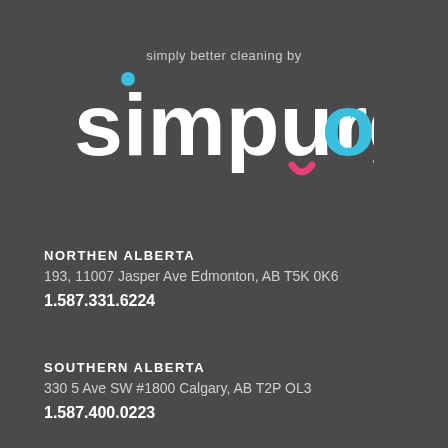[Figure (logo): Simpurgo logo with tagline 'simply better cleaning by simpurgo' on dark background]
NORTHEN ALBERTA
193, 11007 Jasper Ave Edmonton, AB T5K 0K6
1.587.331.6224
SOUTHERN ALBERTA
330 5 Ave SW #1800 Calgary, AB T2P OL3
1.587.400.0223